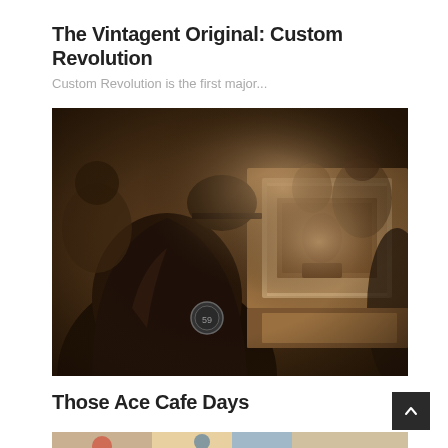The Vintagent Original: Custom Revolution
Custom Revolution is the first major...
[Figure (photo): Sepia-toned vintage photograph showing people in leather jackets at what appears to be a cafe or gathering, with a jukebox or display case visible. A person wearing a jacket with a circular badge/patch is prominently shown from behind.]
Those Ace Cafe Days
[Figure (photo): Partial view of a second photo at the bottom of the page, appears to be a colorful outdoor scene, partially cropped.]